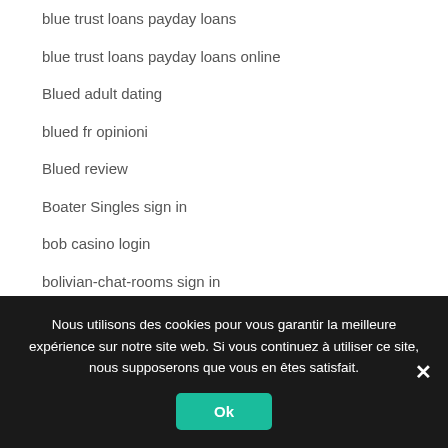blue trust loans payday loans
blue trust loans payday loans online
Blued adult dating
blued fr opinioni
Blued review
Boater Singles sign in
bob casino login
bolivian-chat-rooms sign in
Bondage applicazione
Bondage Pal sign in
Bondage Real Porn
Nous utilisons des cookies pour vous garantir la meilleure expérience sur notre site web. Si vous continuez à utiliser ce site, nous supposerons que vous en êtes satisfait.
Ok